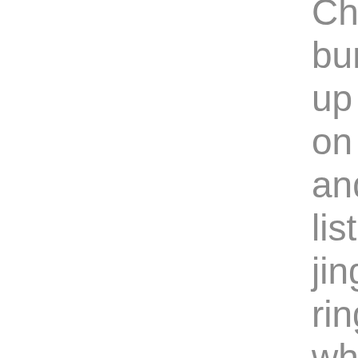Christmas, bundled up toasty on a sleigh and listening to jingle bells ringing. In which international can you visit locate the proper atmosphere of Christmas? Frosty snow, jingling sleigh